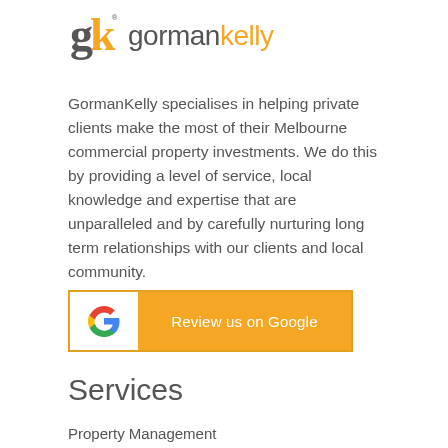[Figure (logo): GormanKelly logo: stylized 'gk' monogram in dark grey and orange, followed by the text 'gorman' in grey and 'kelly' in orange]
GormanKelly specialises in helping private clients make the most of their Melbourne commercial property investments. We do this by providing a level of service, local knowledge and expertise that are unparalleled and by carefully nurturing long term relationships with our clients and local community.
[Figure (other): Review us on Google button with Google G logo on white background and orange button text area]
Services
Property Management